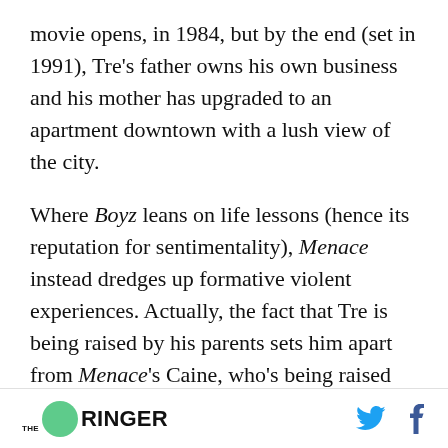movie opens, in 1984, but by the end (set in 1991), Tre's father owns his own business and his mother has upgraded to an apartment downtown with a lush view of the city.
Where Boyz leans on life lessons (hence its reputation for sentimentality), Menace instead dredges up formative violent experiences. Actually, the fact that Tre is being raised by his parents sets him apart from Menace's Caine, who's being raised by his religious grandparents because his father, a drug hustler, was killed when he was 7,
THE RINGER